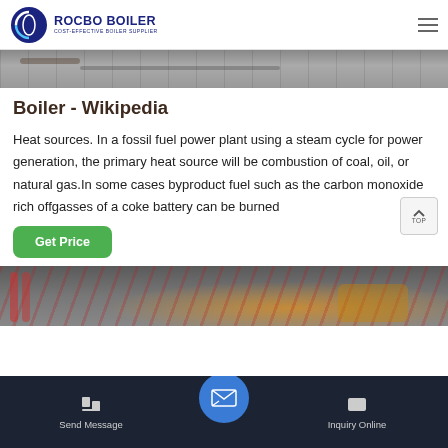ROCBO BOILER - COST-EFFECTIVE BOILER SUPPLIER
[Figure (photo): Top partial photo of industrial boiler/pipe equipment, grey concrete floor visible]
Boiler - Wikipedia
Heat sources. In a fossil fuel power plant using a steam cycle for power generation, the primary heat source will be combustion of coal, oil, or natural gas.In some cases byproduct fuel such as the carbon monoxide rich offgasses of a coke battery can be burned
[Figure (photo): Bottom partial photo of industrial boiler equipment with red pipes and yellow/orange machinery]
Send Message | Inquiry Online